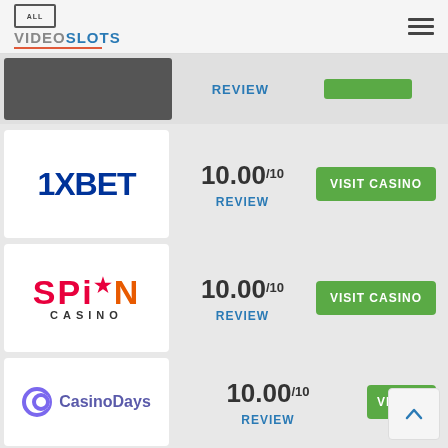ALL VIDEOSLOTS
[Figure (screenshot): Partial casino row with dark logo placeholder, REVIEW link, and green rating bar]
[Figure (logo): 1XBET casino logo - dark blue bold text]
10.00/10 REVIEW
VISIT CASINO
[Figure (logo): Spin Casino logo - red and orange bold text with star, CASINO text below]
10.00/10 REVIEW
VISIT CASINO
[Figure (logo): Casino Days logo - purple circular icon and purple text]
10.00/10 REVIEW
VISIT CASINO